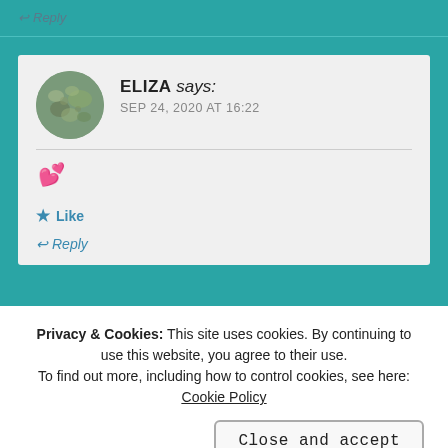↩ Reply
ELIZA says:
SEP 24, 2020 AT 16:22
💕
★ Like
↩ Reply
Privacy & Cookies: This site uses cookies. By continuing to use this website, you agree to their use.
To find out more, including how to control cookies, see here: Cookie Policy
Close and accept
it's ok you haven't been around reading others' posts, we'll